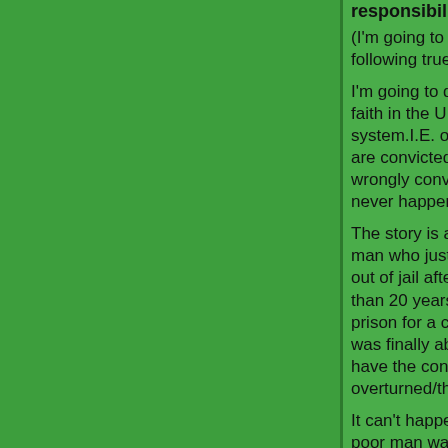responsibility for your actions
(I'm going to open with the following true story)
I'm going to dedicate it to those people who have faith in the U.S. justice system.I.E. only the guilty are convicted, or the "being wrongly convicted could never happen to me crowd".
The story is about a Washington man who just got out of jail after spending more than 20 years in prison for a crime in which he was finally able to have the conviction overturned/thrown out.
It can't happen to me, well this poor man was a police officer at the time..so apparently it can happen to a police officer!
Witnesses don't lie, plus the're reliable..right. Also kids don't lie, they don't have the